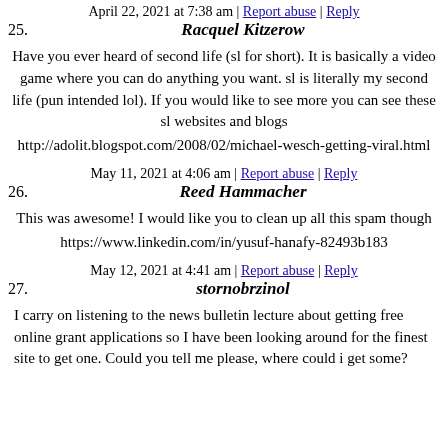April 22, 2021 at 7:38 am | Report abuse | Reply
25. Racquel Kitzerow
Have you ever heard of second life (sl for short). It is basically a video game where you can do anything you want. sl is literally my second life (pun intended lol). If you would like to see more you can see these sl websites and blogs
http://adolit.blogspot.com/2008/02/michael-wesch-getting-viral.html
May 11, 2021 at 4:06 am | Report abuse | Reply
26. Reed Hammacher
This was awesome! I would like you to clean up all this spam though
https://www.linkedin.com/in/yusuf-hanafy-82493b183
May 12, 2021 at 4:41 am | Report abuse | Reply
27. stornobrzinol
I carry on listening to the news bulletin lecture about getting free online grant applications so I have been looking around for the finest site to get one. Could you tell me please, where could i get some?